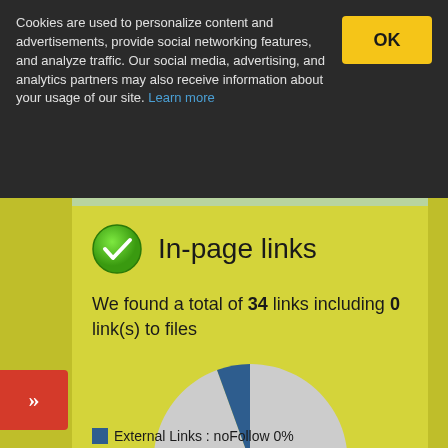Cookies are used to personalize content and advertisements, provide social networking features, and analyze traffic. Our social media, advertising, and analytics partners may also receive information about your usage of our site. Learn more
In-page links
We found a total of 34 links including 0 link(s) to files
[Figure (pie-chart): In-page links]
External Links : noFollow 0%